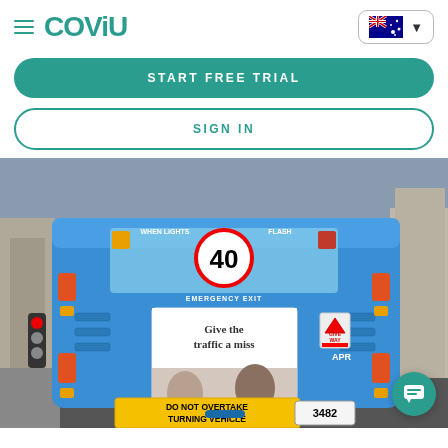[Figure (screenshot): Coviu website navigation bar with hamburger menu icon, Coviu teal logo, and Australian flag dropdown button on the right]
[Figure (screenshot): START FREE TRIAL teal rounded button]
[Figure (screenshot): SIGN IN outlined teal rounded button]
[Figure (photo): Blue city bus rear view on a busy street showing a Coviu telehealth advertisement poster with text 'Give the traffic a miss' and 'Choose telehealth for your next appointment', Coviu logo, '40' speed limit sign, 'WHEN LIGHTS FLASH' text, 'EMERGENCY EXIT' label, 'DO NOT OVERTAKE TURNING VEHICLE' warning, bus number 3482. A teal chat bubble button is visible in the bottom right corner.]